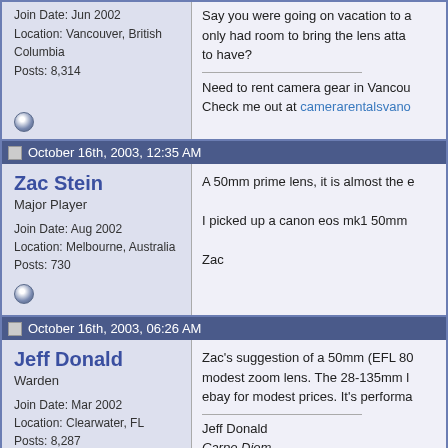Join Date: Jun 2002
Location: Vancouver, British Columbia
Posts: 8,314
Say you were going on vacation to a... only had room to bring the lens atto... to have?
Need to rent camera gear in Vancou...
Check me out at camerarentalsvano...
October 16th, 2003, 12:35 AM
Zac Stein
Major Player
Join Date: Aug 2002
Location: Melbourne, Australia
Posts: 730
A 50mm prime lens, it is almost the e...
I picked up a canon eos mk1 50mm...
Zac
October 16th, 2003, 06:26 AM
Jeff Donald
Warden
Join Date: Mar 2002
Location: Clearwater, FL
Posts: 8,287
Zac's suggestion of a 50mm (EFL 80... modest zoom lens. The 28-135mm l... ebay for modest prices. It's performa...
Jeff Donald
Carpe Diem